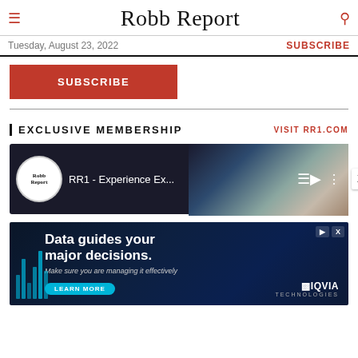Robb Report
Tuesday, August 23, 2022
SUBSCRIBE
[Figure (screenshot): Red SUBSCRIBE button]
EXCLUSIVE MEMBERSHIP
VISIT RR1.COM
[Figure (screenshot): Video player thumbnail showing Robb Report logo and title 'RR1 - Experience Ex...' with playlist and more icons, coastal landscape background]
[Figure (screenshot): Advertisement banner: 'Data guides your major decisions. Make sure you are managing it effectively' with LEARN MORE button and IQVIA Technologies logo]